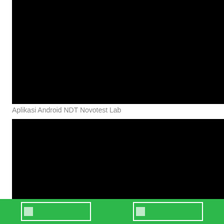[Figure (screenshot): Black screenshot of Android NDT Novotest Lab application interface (top)]
Aplikasi Android NDT Novotest Lab
[Figure (screenshot): Black screenshot of Android NDT Novotest Lab application interface (bottom)]
[Figure (screenshot): Green navigation bar with two thumbnail image slots at the bottom of the page]